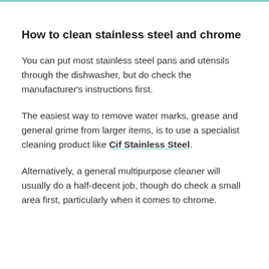How to clean stainless steel and chrome
You can put most stainless steel pans and utensils through the dishwasher, but do check the manufacturer's instructions first.
The easiest way to remove water marks, grease and general grime from larger items, is to use a specialist cleaning product like Cif Stainless Steel.
Alternatively, a general multipurpose cleaner will usually do a half-decent job, though do check a small area first, particularly when it comes to chrome.